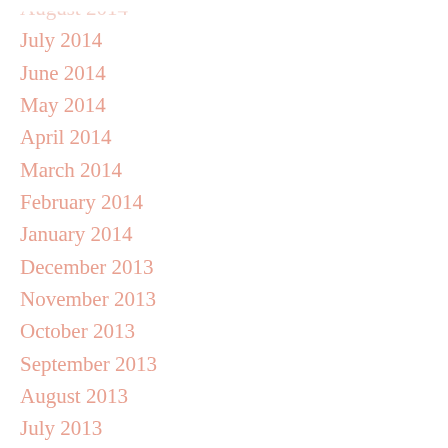August 2014
July 2014
June 2014
May 2014
April 2014
March 2014
February 2014
January 2014
December 2013
November 2013
October 2013
September 2013
August 2013
July 2013
June 2013
May 2013